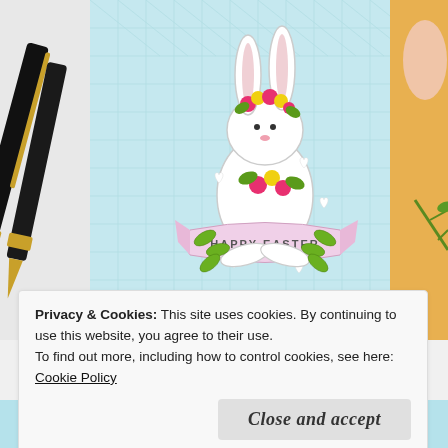[Figure (photo): A crafted Easter card featuring a white bunny with flower crown holding flowers, with a pink banner reading 'HAPPY EASTER', set on light blue embossed/quilted cardstock with small white heart embellishments. A black fountain pen with gold trim is visible on the left side. A hand and orange/yellow background visible on the right. At the bottom, a partial view of another Easter themed craft.]
Privacy & Cookies: This site uses cookies. By continuing to use this website, you agree to their use.
To find out more, including how to control cookies, see here: Cookie Policy
Close and accept